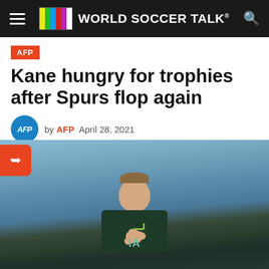WORLD SOCCER TALK
AFP
Kane hungry for trophies after Spurs flop again
by AFP  April 28, 2021
[Figure (photo): Harry Kane in dark green Tottenham Hotspur kit, clapping hands, against a blurred stadium background]